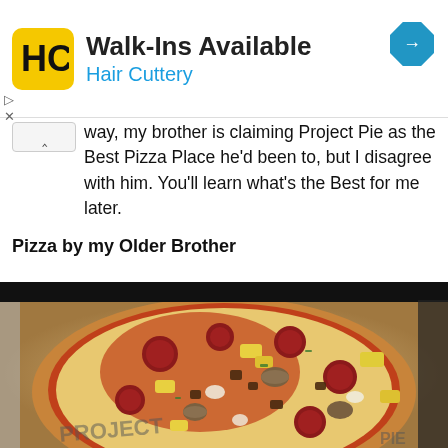[Figure (logo): Hair Cuttery advertisement banner with yellow HC logo, text 'Walk-Ins Available' and 'Hair Cuttery', and blue diamond navigation icon]
way, my brother is claiming Project Pie as the Best Pizza Place he'd been to, but I disagree with him. You'll learn what's the Best for me later.
Pizza by my Older Brother
[Figure (photo): Close-up photo of a pizza with pepperoni, pineapple, mushrooms, and various toppings on a cardboard box with Project Pie branding]